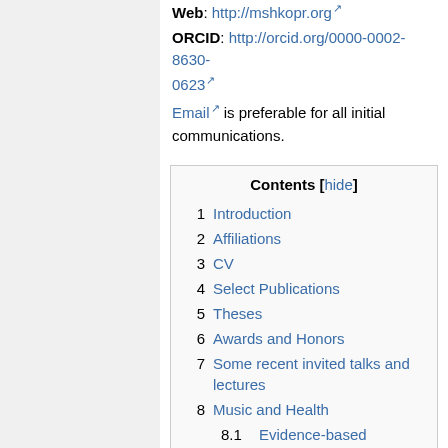Web: http://mshkopr.org
ORCID: http://orcid.org/0000-0002-8630-0623
Email is preferable for all initial communications.
1 Introduction
2 Affiliations
3 CV
4 Select Publications
5 Theses
6 Awards and Honors
7 Some recent invited talks and lectures
8 Music and Health
8.1 Evidence-based research
8.2 Giving Voice to Health: M4GHD ethnomusicology
9 Applied Ethnomusicology
9.1 Music for Global Human...